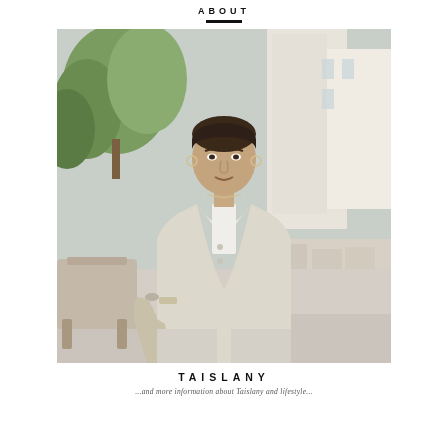ABOUT
[Figure (photo): Portrait photo of a young woman named Taislany, standing outdoors on a city sidewalk wearing a beige sleeveless blazer suit, holding a beige handbag, with trees and a modern building in the background]
TAISLANY
...and more information about Taislany and lifestyle...